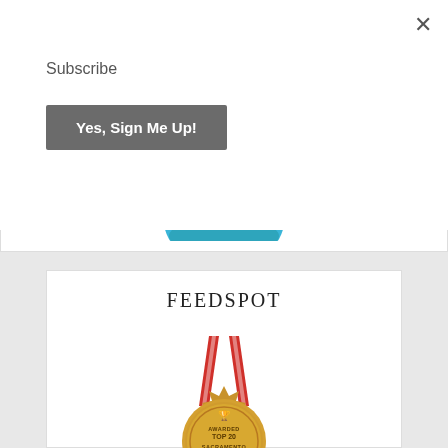×
Subscribe
Yes, Sign Me Up!
[Figure (illustration): Partial blue rounded shape visible at bottom of a white card]
FEEDSPOT
[Figure (illustration): Gold medal with red ribbon and text: AWARDED TOP 20 SACRAMENTO BLOG]